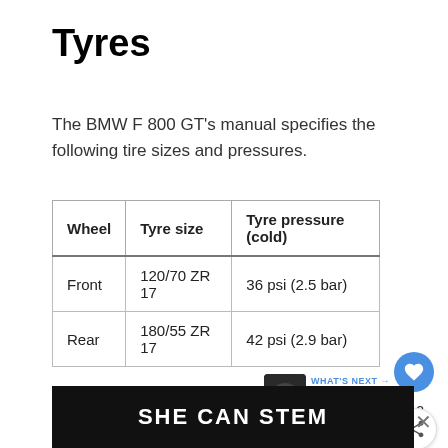Tyres
The BMW F 800 GT's manual specifies the following tire sizes and pressures.
| Wheel | Tyre size | Tyre pressure (cold) |
| --- | --- | --- |
| Front | 120/70 ZR 17 | 36 psi (2.5 bar) |
| Rear | 180/55 ZR 17 | 42 psi (2.9 bar) |
BMW F 800 GT tyre sizes and pressures